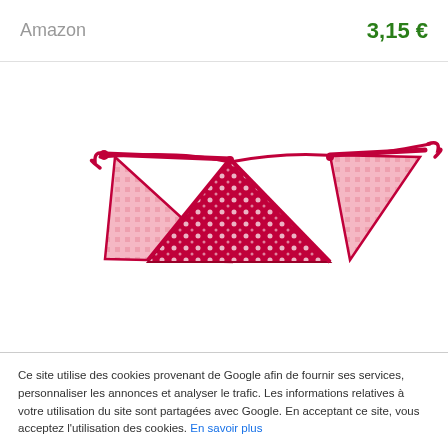Amazon
3,15 €
[Figure (photo): Three decorative fabric bunting pennant flags on a string — left and right flags have pink gingham pattern, center flag has dark pink floral pattern — on white background]
Ce site utilise des cookies provenant de Google afin de fournir ses services, personnaliser les annonces et analyser le trafic. Les informations relatives à votre utilisation du site sont partagées avec Google. En acceptant ce site, vous acceptez l'utilisation des cookies. En savoir plus
Fermer ✕